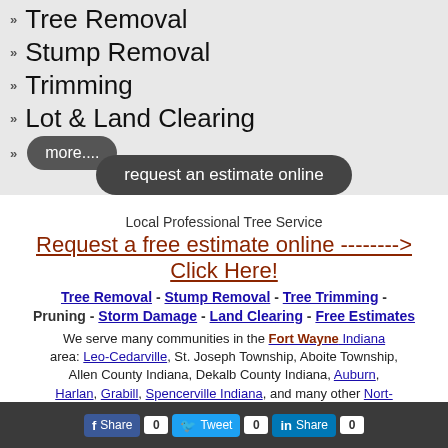Tree Removal
Stump Removal
Trimming
Lot & Land Clearing
more....
request an estimate online
Local Professional Tree Service
Request a free estimate online --------> Click Here!
Tree Removal - Stump Removal - Tree Trimming - Pruning - Storm Damage - Land Clearing - Free Estimates
We serve many communities in the Fort Wayne Indiana area: Leo-Cedarville, St. Joseph Township, Aboite Township, Allen County Indiana, Dekalb County Indiana, Auburn, Harlan, Grabill, Spencerville Indiana, and many other Nort-East Indiana towns, neighborhoods and cities.
Share 0  Tweet 0  Share 0